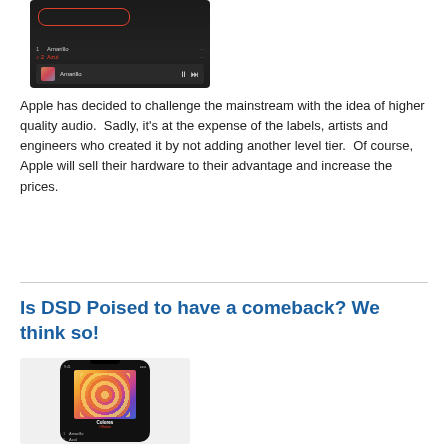[Figure (screenshot): Screenshot of a music app showing a playlist with tracks 'Amarillo' and 'Azul', with a now-playing bar at the bottom showing 'Amarillo'. An oval/circle indicator highlights the top playback controls.]
Apple has decided to challenge the mainstream with the idea of higher quality audio.  Sadly, it's at the expense of the labels, artists and engineers who created it by not adding another level tier.  Of course, Apple will sell their hardware to their advantage and increase the prices.
Read more
Is DSD Poised to have a comeback? We think so!
[Figure (screenshot): Screenshot of a music app on a smartphone showing album art with colorful flower patterns, track listing including 'Amarillo' and 'Azul', and playback controls.]